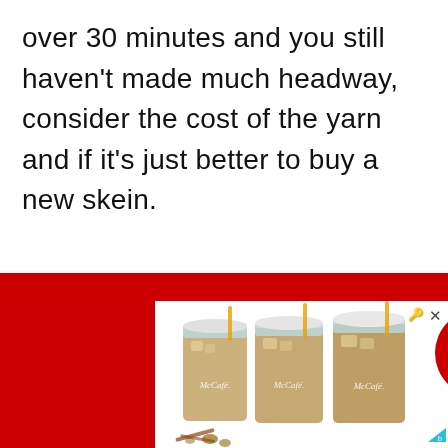over 30 minutes and you still haven't made much headway, consider the cost of the yarn and if it's just better to buy a new skein.
[Figure (photo): McDonald's McCafé advertisement showing three iced coffee drinks in tall glasses with a red circular badge showing '99¢ Any Size Until 11AM']